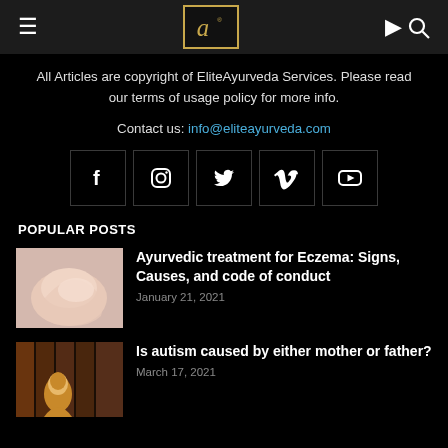EliteAyurveda logo header with hamburger menu and search icon
All Articles are copyright of EliteAyurveda Services. Please read our terms of usage policy for more info.
Contact us: info@eliteayurveda.com
[Figure (other): Social media icons row: Facebook, Instagram, Twitter, Vimeo, YouTube]
POPULAR POSTS
[Figure (photo): Close-up photo of a human hand showing eczema skin condition]
Ayurvedic treatment for Eczema: Signs, Causes, and code of conduct
January 21, 2021
[Figure (illustration): Illustration of a person with colorful background, related to autism article]
Is autism caused by either mother or father?
March 17, 2021